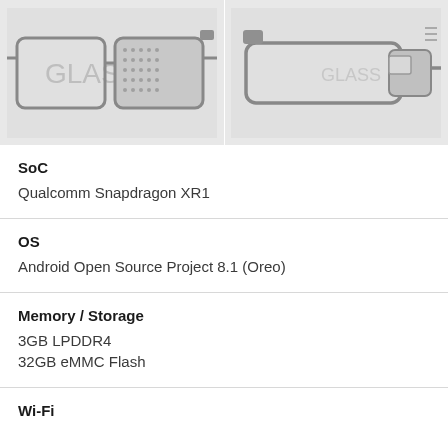[Figure (photo): Two Google Glass Enterprise Edition smart glasses shown from the front (left) and side/angled view (right), both in dark gray/black frames against a light gray background. Left image shows 'GLASS' logo text visible on the frame.]
| Spec | Value |
| --- | --- |
| SoC | Qualcomm Snapdragon XR1 |
| OS | Android Open Source Project 8.1 (Oreo) |
| Memory / Storage | 3GB LPDDR4
32GB eMMC Flash |
| Wi-Fi |  |